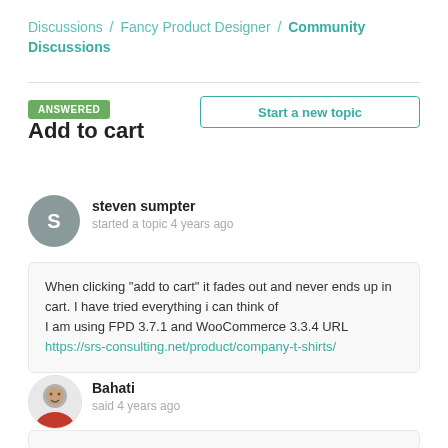Discussions / Fancy Product Designer / Community Discussions
Add to cart
ANSWERED
Start a new topic
steven sumpter
started a topic 4 years ago
When clicking "add to cart" it fades out and never ends up in cart. I have tried everything i can think of
I am using FPD 3.7.1 and WooCommerce 3.3.4 URL https://srs-consulting.net/product/company-t-shirts/
Bahati
said 4 years ago